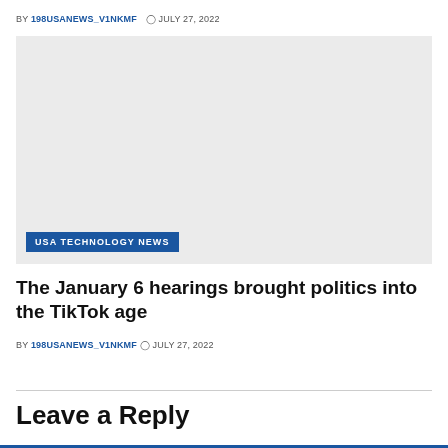BY 198USANEWS_V1NKMF  ⊙ JULY 27, 2022
[Figure (photo): Gray placeholder image with 'USA TECHNOLOGY NEWS' category badge in blue at bottom left]
The January 6 hearings brought politics into the TikTok age
BY 198USANEWS_V1NKMF  ⊙ JULY 27, 2022
Leave a Reply